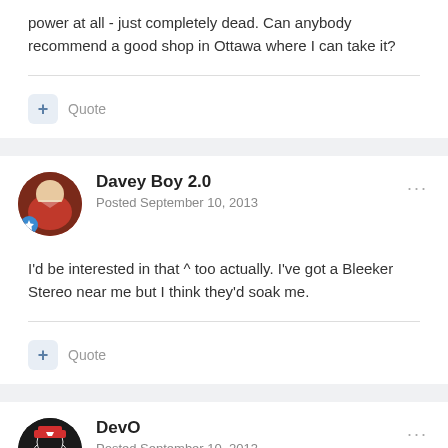power at all - just completely dead. Can anybody recommend a good shop in Ottawa where I can take it?
Quote
Davey Boy 2.0
Posted September 10, 2013
I'd be interested in that ^ too actually. I've got a Bleeker Stereo near me but I think they'd soak me.
Quote
DevO
Posted September 10, 2013